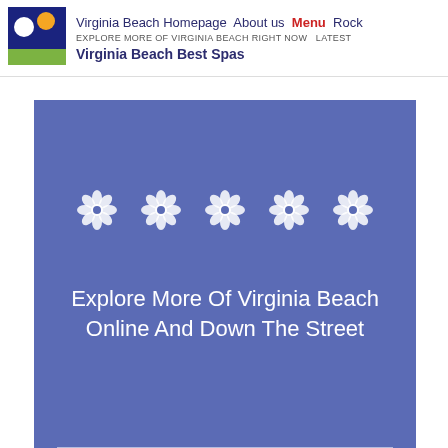Virginia Beach Homepage  About us  Menu  Rock
EXPLORE MORE OF VIRGINIA BEACH RIGHT NOW  Latest
Virginia Beach Best Spas
[Figure (illustration): Blue square logo with white circle, yellow/orange circle, and green rectangle stripe at the bottom]
[Figure (illustration): Blue-purple banner with five white flower/asterisk icons and large white text: Explore More Of Virginia Beach Online And Down The Street, with a horizontal white rule at the bottom]
Explore More Of Virginia Beach Online And Down The Street